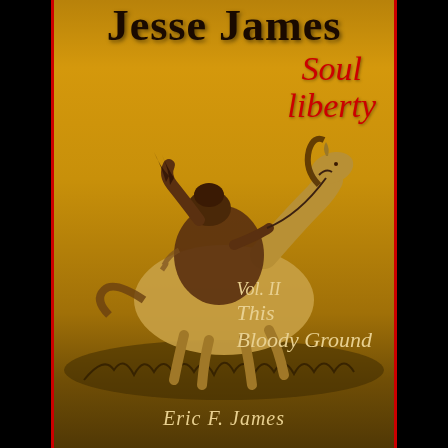Jesse James
Soul Liberty
[Figure (illustration): Sepia-toned illustration of a rider on horseback in dramatic pose, set against a golden-brown background, in the style of a Western historical image]
Vol. II
This Bloody Ground
Eric F. James